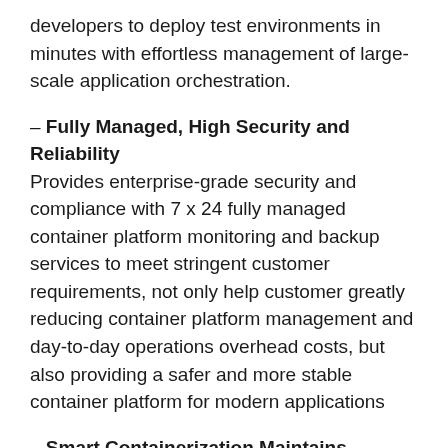developers to deploy test environments in minutes with effortless management of large-scale application orchestration.
– Fully Managed, High Security and Reliability Provides enterprise-grade security and compliance with 7 x 24 fully managed container platform monitoring and backup services to meet stringent customer requirements, not only help customer greatly reducing container platform management and day-to-day operations overhead costs, but also providing a safer and more stable container platform for modern applications
– Smart Containerization Maintains Business Continuity Using multiple container clusters facilitate robust business continuity, meanwhile, it allows companies to quickly and easily clone applications into different namespaces, enabling fast failover across regions and between on-premises and